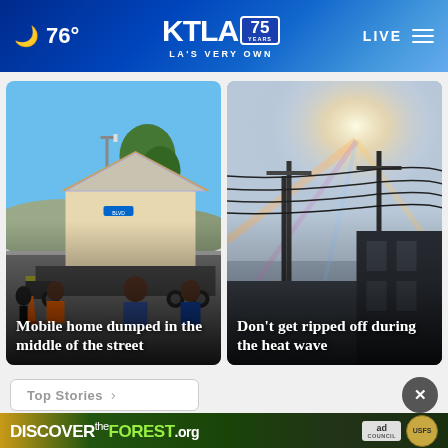🌙 76° | KTLA 75 YEARS | LA'S VERY OWN | LIVE
[Figure (photo): Photo of mobile home being transported or dumped in the middle of a street, with people standing around it, orange traffic cones visible, blue sky background]
Mobile home dumped in the middle of the street
[Figure (photo): Photo of power lines against a hazy, glowing sky during a heat wave, with lens flare effect]
Don't get ripped off during the heat wave
Top Stories >
[Figure (infographic): Advertisement banner for DiscovertheForest.org with Ad Council and US Forest Service logos]